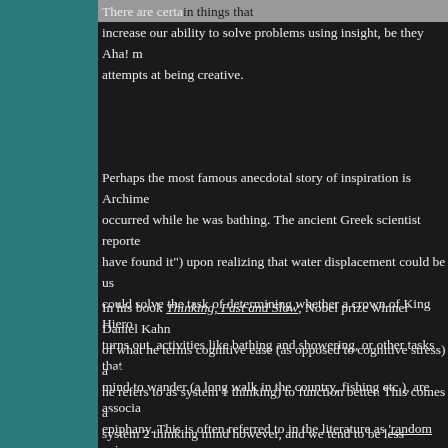[Figure (photo): Partial image strip at the top of the page showing a cropped photograph]
There are certain things that increase our ability to solve problems using insight, be they Aha! moments or attempts at being creative.
Perhaps the most famous anecdotal story of inspiration is Archimedes which occurred while he was bathing. The ancient Greek scientist reportedly shouted 'Eureka' (I have found it") upon realizing that water displacement could be used to measure volume. He could solve the task of determining whether a crown of King Hiero was pure gold. As it turns out, activities like bathing and showering, or other tasks that allow the mind to wander (a long walk in the country, fishing etc.), are associated with this type of epiphany. This is often referred to in the literature as 'random epis...
In his book Thinking, Fast and Slow, Nobel prize winner Daniel Kahneman speaks of what he terms cognitive ease (as opposed to cognitive stress) and the tendency of what he refers to as system 1 thinking) to function better. This comes at the expense of system 2 thinking mind however, and we tend to be less analytical and more creative. A key part of the creative process is withholding judgment and collecting ideas (brainstorming) (and will be discussed in a future Create Heuristic essay). Interestingly, stress or anxiety in general, tends to narrow our scope of attention making broader stimuli less likely. There is evolutionary correlates to this as a narrow focus served well to focus on a threat from a predator, for example, and filter out (immediately) relevant data.